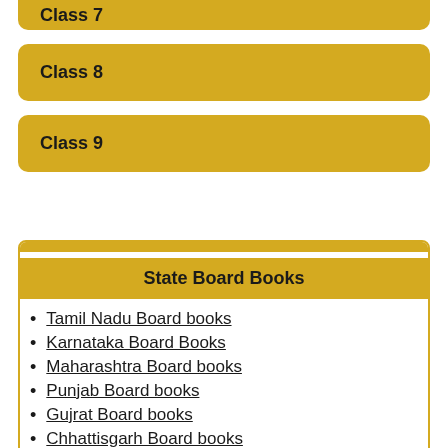Class 7
Class 8
Class 9
State Board Books
Tamil Nadu Board books
Karnataka Board Books
Maharashtra Board books
Punjab Board books
Gujrat Board books
Chhattisgarh Board books